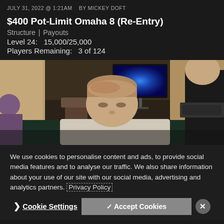JULY 31, 2022 @ 1:21AM   BY MICKEY DOFT
$400 Pot-Limit Omaha 8 (Re-Entry)
Structure | Payouts
Level 24:  15,000/25,000
Players Remaining:  3 of 124
[Figure (photo): Poker tournament scene inside a casino. A man with short light-brown hair sits at a poker table in the foreground, looking down. A TV monitor with a blue light show effect is visible in the background. Another person in a black shirt stands to the right. Casino chairs and tables are visible.]
We use cookies to personalise content and ads, to provide social media features and to analyse our traffic. We also share information about your use of our site with our social media, advertising and analytics partners. Privacy Policy
❯ Cookie Settings   ✓ Accept Cookies